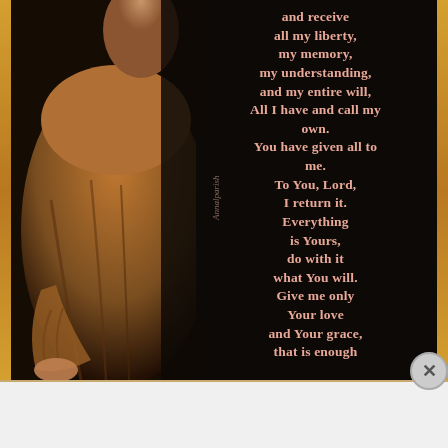[Figure (illustration): A religious/devotional image showing a figure in brown robes on the left side against a dark background, with pink/salmon colored prayer text overlay on the right side reading a portion of the Suscipe prayer by St. Ignatius of Loyola.]
and receive all my liberty, my memory, my understanding, and my entire will, All I have and call my own. You have given all to me. To You, Lord, I return it. Everything is Yours, do with it what You will. Give me only Your love and Your grace, that is enough
Advertisements
[Figure (screenshot): Bloomingdale's advertisement banner: logo with 'bloomingdales', tagline 'View Today's Top Deals!', model photo with hat, and 'SHOP NOW >' button.]